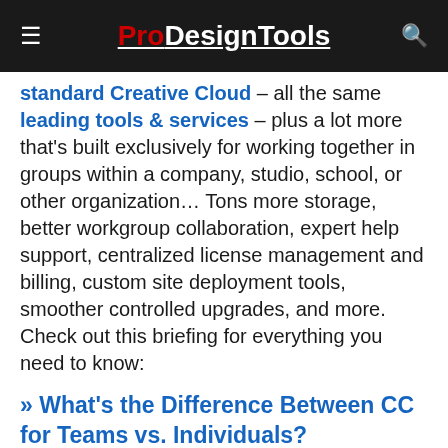ProDesignTools
standard Creative Cloud – all the same leading tools & services – plus a lot more that's built exclusively for working together in groups within a company, studio, school, or other organization… Tons more storage, better workgroup collaboration, expert help support, centralized license management and billing, custom site deployment tools, smoother controlled upgrades, and more. Check out this briefing for everything you need to know:
» What's the Difference Between CC for Teams vs. Individuals?
The Creative Cloud already has 26 million